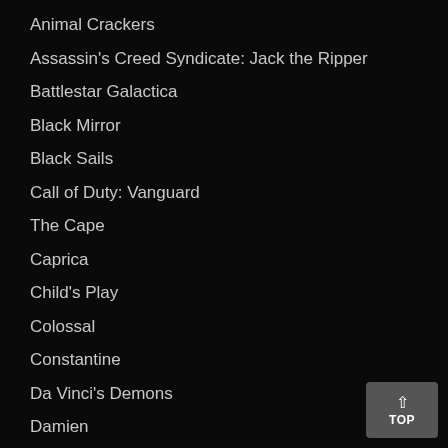Animal Crackers
Assassin's Creed Syndicate: Jack the Ripper
Battlestar Galactica
Black Mirror
Black Sails
Call of Duty: Vanguard
The Cape
Caprica
Child's Play
Colossal
Constantine
Da Vinci's Demons
Damien
Dark Void
Dark Void Zero
Defiance
ELI